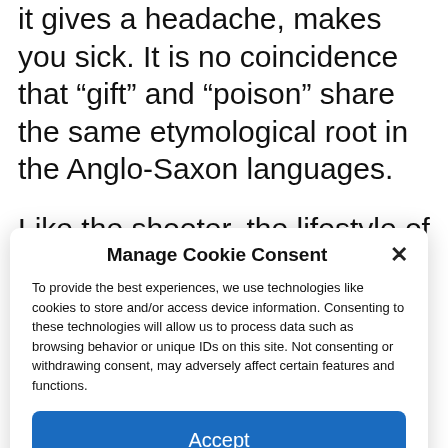it gives a headache, makes you sick. It is no coincidence that “gift” and “poison” share the same etymological root in the Anglo-Saxon languages.
Like the shooter, the lifestyle of catering employees is ambivalent, because its qualities are inseparable from its faults. You
Manage Cookie Consent
To provide the best experiences, we use technologies like cookies to store and/or access device information. Consenting to these technologies will allow us to process data such as browsing behavior or unique IDs on this site. Not consenting or withdrawing consent, may adversely affect certain features and functions.
Accept
Cookie Policy